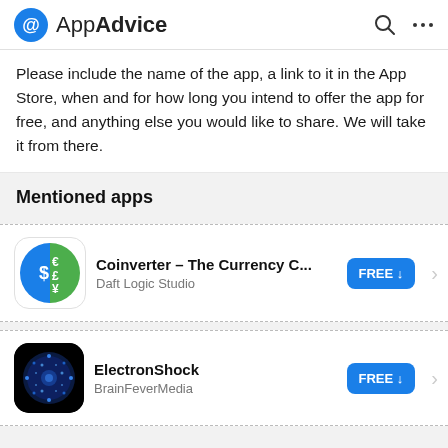AppAdvice
Please include the name of the app, a link to it in the App Store, when and for how long you intend to offer the app for free, and anything else you would like to share. We will take it from there.
Mentioned apps
Coinverter – The Currency C... | Daft Logic Studio | FREE
ElectronShock | BrainFeverMedia | FREE